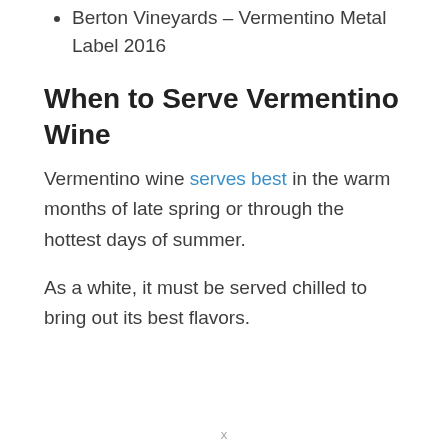Berton Vineyards – Vermentino Metal Label 2016
When to Serve Vermentino Wine
Vermentino wine serves best in the warm months of late spring or through the hottest days of summer.
As a white, it must be served chilled to bring out its best flavors.
x